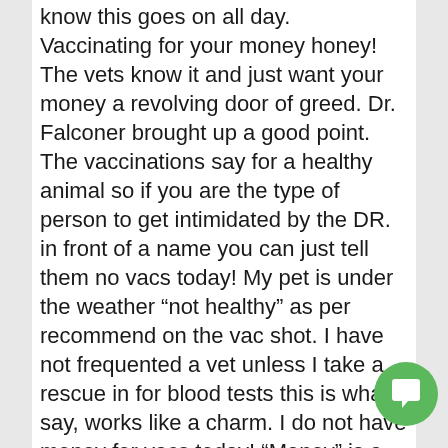know this goes on all day. Vaccinating for your money honey! The vets know it and just want your money a revolving door of greed. Dr. Falconer brought up a good point. The vaccinations say for a healthy animal so if you are the type of person to get intimidated by the DR. in front of a name you can just tell them no vacs today! My pet is under the weather "not healthy" as per recommend on the vac shot. I have not frequented a vet unless I take a rescue in for blood tests this is what I say, works like a charm. I do not have money for vacs today! "Money" is a very powerful word in a vet clinic. They will not argue with you. They want to get to the next victim in the other waiting room!
Think about it most all pets have something wrong with them and this is why vaccinations and foods riddled with chemicals they labeled
[Figure (other): Green circular chat/messaging button icon with white speech bubble icon]